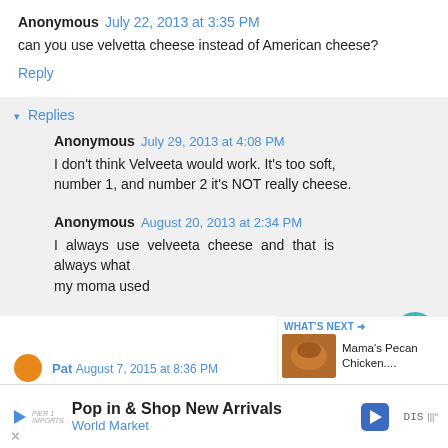Anonymous July 22, 2013 at 3:35 PM
can you use velvetta cheese instead of American cheese?
Reply
Replies
Anonymous July 29, 2013 at 4:08 PM
I don't think Velveeta would work. It's too soft, number 1, and number 2 it's NOT really cheese.
Anonymous August 20, 2013 at 2:34 PM
I always use velveeta cheese and that is always what my moma used
Pat August 7, 2015 at 8:36 PM
WHAT'S NEXT → Mama's Pecan Chicken....
Pop in & Shop New Arrivals World Market